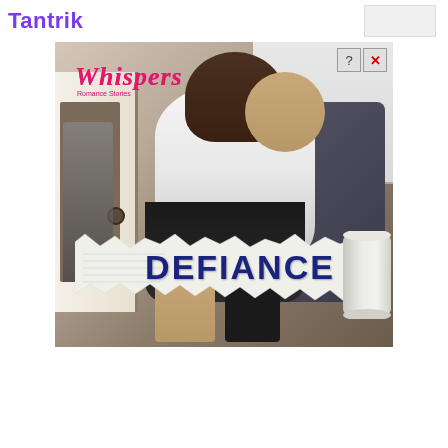Tantrik
[Figure (illustration): Advertisement banner for 'Whispers Romance Stories' book/app titled 'DEFIANCE'. Shows a couple in a romantic embrace in an office setting, with a woman in white blouse and black skirt and a man in a suit. A torn newspaper reveals the title 'DEFIANCE' in large bold dark blue letters. A rolled scroll is visible on the right. The 'Whispers' logo appears in pink/red italic font at top left. Ad control buttons (? and X) appear at top right corner.]